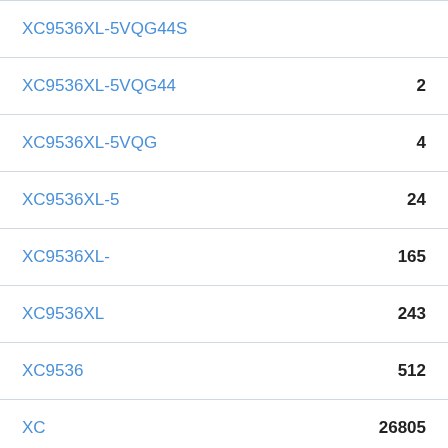XC9536XL-5VQG44
XC9536XL-5VQG
XC9536XL-5
XC9536XL-
XC9536XL
XC9536
XC
New products
[Figure (photo): Two semiconductor chips: a silver/blue chip on the left and a gold chip on the right, partially visible at the bottom of the page.]